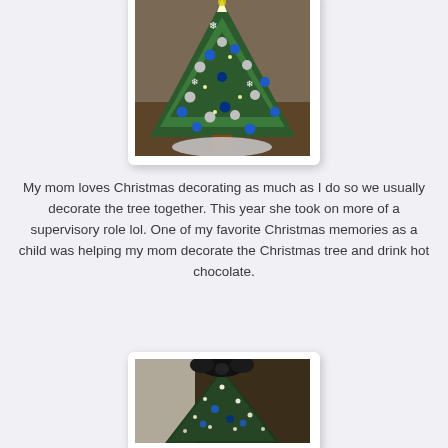[Figure (photo): A decorated Christmas tree with blue and silver ornaments, snowflake decorations, and a silver tree skirt, photographed indoors on a wooden surface.]
My mom loves Christmas decorating as much as I do so we usually decorate the tree together. This year she took on more of a supervisory role lol. One of my favorite Christmas memories as a child was helping my mom decorate the Christmas tree and drink hot chocolate.
[Figure (photo): A Christmas tree decorated with blue and silver ornaments and lights, with a large dark bow/topper, photographed indoors in dim lighting showing only the upper portion of the tree.]